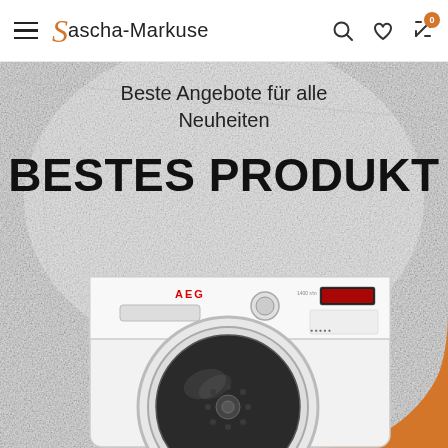Sascha-Markuse
Beste Angebote für alle Neuheiten
BESTES PRODUKT
[Figure (photo): AEG front-loading washing machine on a white crumpled paper background, with an orange quarter-circle decorative element in the bottom-right corner.]